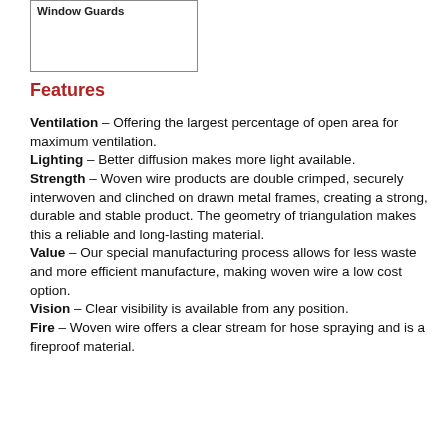[Figure (other): Box with label 'Window Guards']
Features
Ventilation – Offering the largest percentage of open area for maximum ventilation.
Lighting – Better diffusion makes more light available.
Strength – Woven wire products are double crimped, securely interwoven and clinched on drawn metal frames, creating a strong, durable and stable product. The geometry of triangulation makes this a reliable and long-lasting material.
Value – Our special manufacturing process allows for less waste and more efficient manufacture, making woven wire a low cost option.
Vision – Clear visibility is available from any position.
Fire – Woven wire offers a clear stream for hose spraying and is a fireproof material.